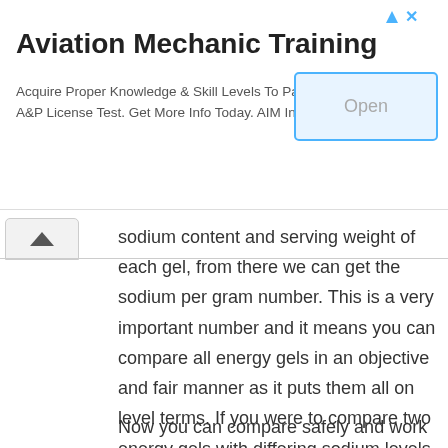[Figure (screenshot): Advertisement banner for Aviation Mechanic Training by AIM Institute with an Open button]
sodium content and serving weight of each gel, from there we can get the sodium per gram number. This is a very important number and it means you can compare all energy gels in an objective and fair manner as it puts them all on level terms. If you were to compare two energy gels with differing sodium levels you might not take in to account the serving weight, which makes it much harder to work out which has the most amount of sodium in it.
Now you can compare safely and work out the